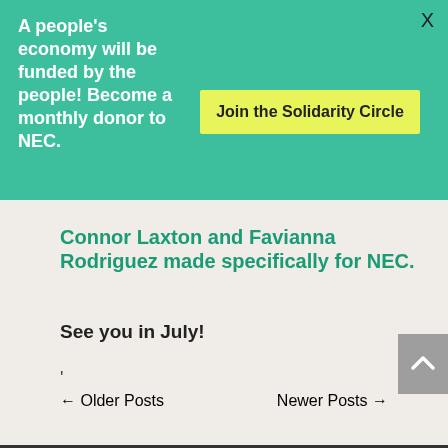A people's economy will be funded by the people! Become a monthly donor to NEC.
Join the Solidarity Circle
X
Connor Laxton and Favianna Rodriguez made specifically for NEC.
See you in July!
'
← Older Posts
Newer Posts →